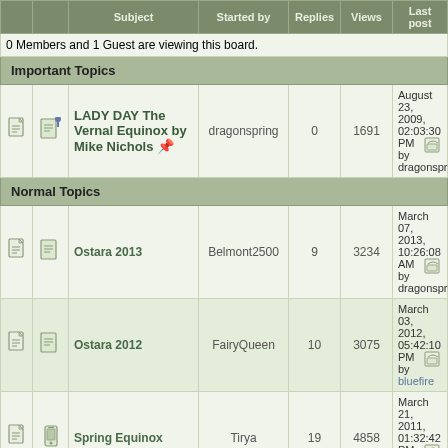|  |  | Subject | Started by | Replies | Views | Last post |
| --- | --- | --- | --- | --- | --- | --- |
| info | 0 Members and 1 Guest are viewing this board. |
| section | Important Topics |
| icon | icon | LADY DAY The Vernal Equinox by Mike Nichols | dragonspring | 0 | 1691 | August 23, 2009, 02:03:30 PM by dragonspring |
| section | Normal Topics |
| icon | icon | Ostara 2013 | Belmont2500 | 9 | 3234 | March 07, 2013, 10:26:08 AM by dragonspring |
| icon | icon | Ostara 2012 | FairyQueen | 10 | 3075 | March 03, 2012, 05:42:10 PM by bluefire |
| icon | icon | Spring Equinox | Tirya | 19 | 4858 | March 21, 2011, 01:32:42 PM by HappyZealot |
| icon | icon | The |  |  |  | August 29, 2009, |